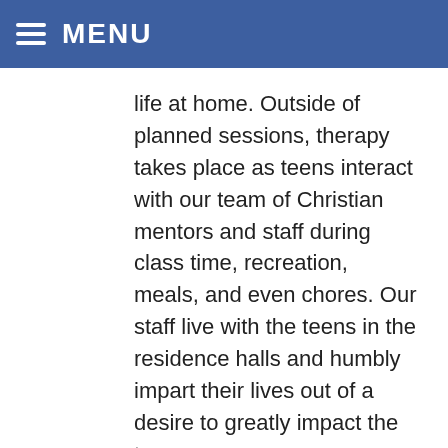MENU
life at home. Outside of planned sessions, therapy takes place as teens interact with our team of Christian mentors and staff during class time, recreation, meals, and even chores. Our staff live with the teens in the residence halls and humbly impart their lives out of a desire to greatly impact the teens.
Teen Challenge Program’s Students from Amarillo, Texas Learn to Help Others As Well